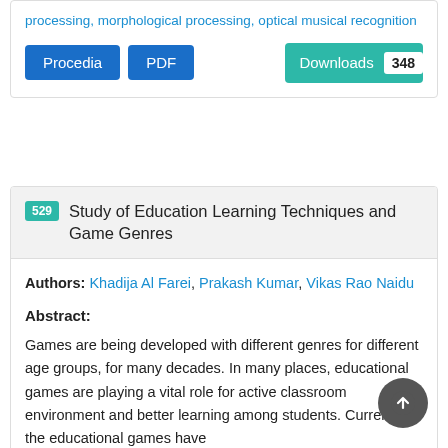processing, morphological processing, optical musical recognition
Procedia | PDF | Downloads 348
529 Study of Education Learning Techniques and Game Genres
Authors: Khadija Al Farei, Prakash Kumar, Vikas Rao Naidu
Abstract:
Games are being developed with different genres for different age groups, for many decades. In many places, educational games are playing a vital role for active classroom environment and better learning among students. Currently, the educational games have